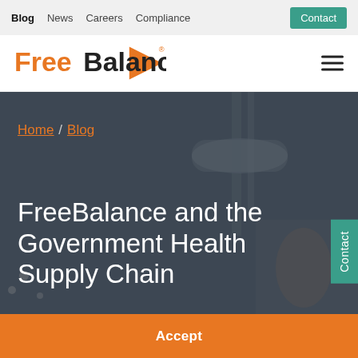Blog  News  Careers  Compliance  Contact
[Figure (logo): FreeBalance logo with orange triangle and wordmark]
[Figure (photo): Dark background hero image of medical/supply chain context with hand holding a pen over documents]
Home / Blog
FreeBalance and the Government Health Supply Chain
Contact
Accept